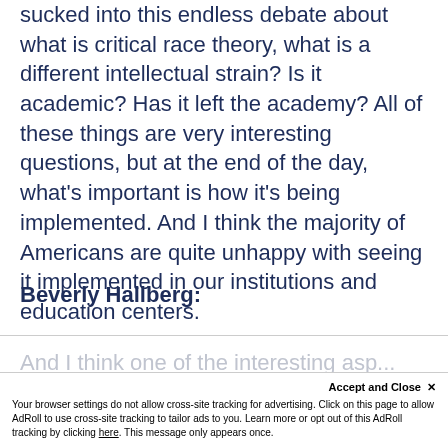sucked into this endless debate about what is critical race theory, what is a different intellectual strain? Is it academic? Has it left the academy? All of these things are very interesting questions, but at the end of the day, what's important is how it's being implemented. And I think the majority of Americans are quite unhappy with seeing it implemented in our institutions and education centers.
Beverly Hallberg:
And I think one of the interesting asp...
Accept and Close ✕
Your browser settings do not allow cross-site tracking for advertising. Click on this page to allow AdRoll to use cross-site tracking to tailor ads to you. Learn more or opt out of this AdRoll tracking by clicking here. This message only appears once.